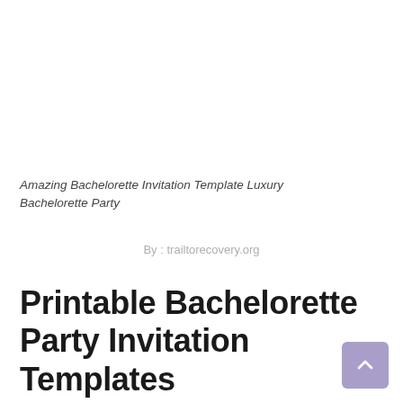Amazing Bachelorette Invitation Template Luxury Bachelorette Party
By : trailtorecovery.org
Printable Bachelorette Party Invitation Templates